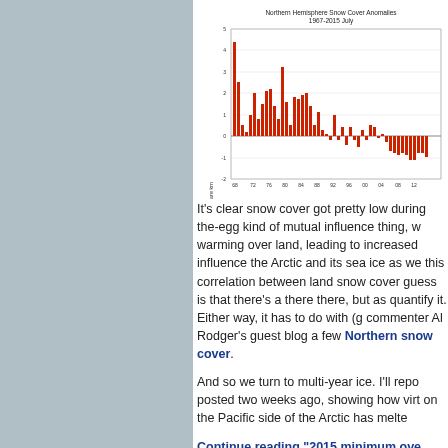[Figure (bar-chart): Northern Hemisphere Snow Cover Anomalies 1967-2015 July]
It's clear snow cover got pretty low during the-egg kind of mutual influence thing, warming over land, leading to increased influence the Arctic and its sea ice as well this correlation between land snow cover guess is that there's a there there, but as quantify it. Either way, it has to do with (g commenter Al Rodger's guest blog a few Northern snow cover.
And so we turn to multi-year ice. I'll repo posted two weeks ago, showing how virt on the Pacific side of the Arctic has melte
Continue reading "2015 minimum ove